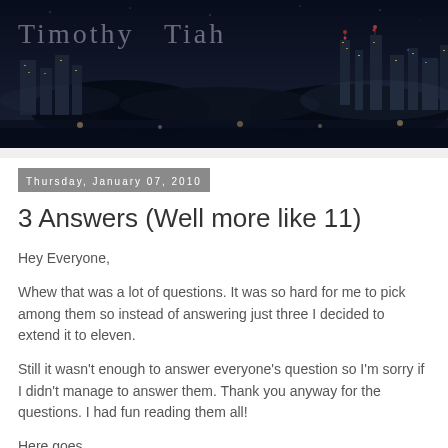[Figure (photo): Night cityscape photo with city lights and buildings against a dark sky, with 'Timothy Tiah' blog title overlaid in light gray text]
Thursday, January 07, 2010
3 Answers (Well more like 11)
Hey Everyone,
Whew that was a lot of questions. It was so hard for me to pick among them so instead of answering just three I decided to extend it to eleven.
Still it wasn't enough to answer everyone's question so I'm sorry if I didn't manage to answer them. Thank you anyway for the questions. I had fun reading them all!
Here goes.